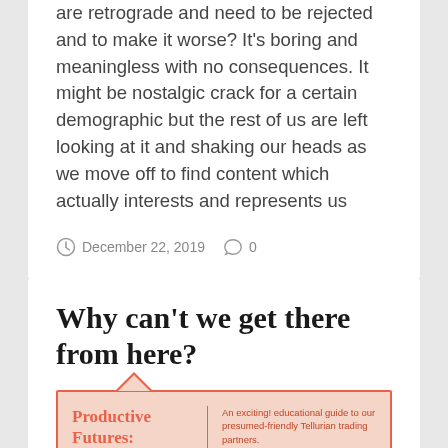are retrograde and need to be rejected and to make it worse? It's boring and meaningless with no consequences. It might be nostalgic crack for a certain demographic but the rest of us are left looking at it and shaking our heads as we move off to find content which actually interests and represents us
December 22, 2019   0
Why can't we get there from here?
[Figure (other): A flyer for 'Productive Futures: The Political Economy of...' event, described as 'An exciting! educational guide to our presumed-friendly Tellurian trading partners.' Dated 12-14 September 2019, Bloomsbury, London. Mentions KEYNOTE SPEAKERS.]